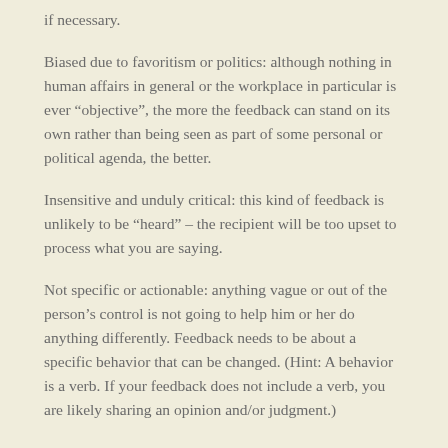if necessary.
Biased due to favoritism or politics: although nothing in human affairs in general or the workplace in particular is ever “objective”, the more the feedback can stand on its own rather than being seen as part of some personal or political agenda, the better.
Insensitive and unduly critical: this kind of feedback is unlikely to be “heard” – the recipient will be too upset to process what you are saying.
Not specific or actionable: anything vague or out of the person’s control is not going to help him or her do anything differently. Feedback needs to be about a specific behavior that can be changed. (Hint: A behavior is a verb. If your feedback does not include a verb, you are likely sharing an opinion and/or judgment.)